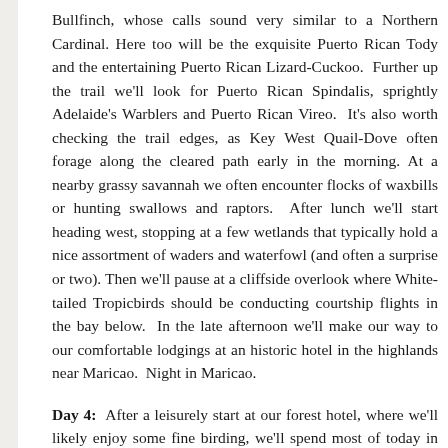Bullfinch, whose calls sound very similar to a Northern Cardinal. Here too will be the exquisite Puerto Rican Tody and the entertaining Puerto Rican Lizard-Cuckoo. Further up the trail we'll look for Puerto Rican Spindalis, sprightly Adelaide's Warblers and Puerto Rican Vireo. It's also worth checking the trail edges, as Key West Quail-Dove often forage along the cleared path early in the morning. At a nearby grassy savannah we often encounter flocks of waxbills or hunting swallows and raptors. After lunch we'll start heading west, stopping at a few wetlands that typically hold a nice assortment of waders and waterfowl (and often a surprise or two). Then we'll pause at a cliffside overlook where White-tailed Tropicbirds should be conducting courtship flights in the bay below. In the late afternoon we'll make our way to our comfortable lodgings at an historic hotel in the highlands near Maricao. Night in Maricao.
Day 4: After a leisurely start at our forest hotel, where we'll likely enjoy some fine birding, we'll spend most of today in the lush montane forest of Maricao State Forest and other protected areas along the mountainous central road. Two endemic hummingbirds occur here; the Puerto Rican Emerald and impressive Green Mango. In addition, Puerto Rican Spindalis, Puerto Rican Tanager, Loggerhead Kingbird (endemic and distinctive subspecies), Puerto